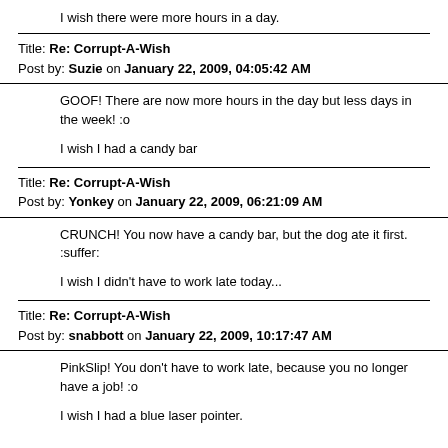I wish there were more hours in a day.
Title: Re: Corrupt-A-Wish
Post by: Suzie on January 22, 2009, 04:05:42 AM
GOOF! There are now more hours in the day but less days in the week! :o

I wish I had a candy bar
Title: Re: Corrupt-A-Wish
Post by: Yonkey on January 22, 2009, 06:21:09 AM
CRUNCH!  You now have a candy bar, but the dog ate it first. :suffer:

I wish I didn't have to work late today...
Title: Re: Corrupt-A-Wish
Post by: snabbott on January 22, 2009, 10:17:47 AM
PinkSlip! You don't have to work late, because you no longer have a job! :o

I wish I had a blue laser pointer.